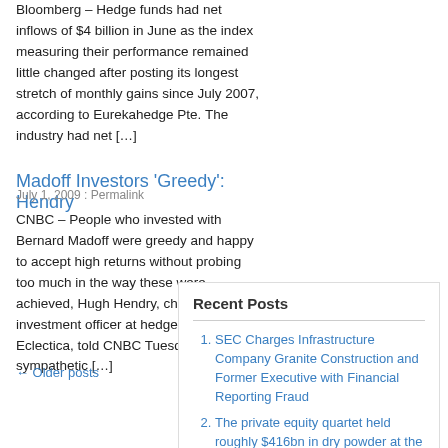Bloomberg – Hedge funds had net inflows of $4 billion in June as the index measuring their performance remained little changed after posting its longest stretch of monthly gains since July 2007, according to Eurekahedge Pte. The industry had net […]
Madoff Investors 'Greedy': Hendry
July 1, 2009 : Permalink
CNBC – People who invested with Bernard Madoff were greedy and happy to accept high returns without probing too much in the way these were achieved, Hugh Hendry, chief investment officer at hedge fund Eclectica, told CNBC Tuesday. "I'm sympathetic […]
← Older posts
Recent Posts
SEC Charges Infrastructure Company Granite Construction and Former Executive with Financial Reporting Fraud
The private equity quartet held roughly $416bn in dry powder at the